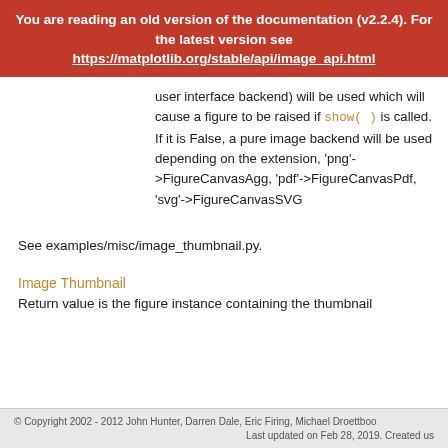You are reading an old version of the documentation (v2.2.4). For the latest version see https://matplotlib.org/stable/api/image_api.html
user interface backend) will be used which will cause a figure to be raised if show() is called. If it is False, a pure image backend will be used depending on the extension, 'png'->FigureCanvasAgg, 'pdf'->FigureCanvasPdf, 'svg'->FigureCanvasSVG
See examples/misc/image_thumbnail.py.
Image Thumbnail
Return value is the figure instance containing the thumbnail
© Copyright 2002 - 2012 John Hunter, Darren Dale, Eric Firing, Michael Droettboo
Last updated on Feb 28, 2019. Created us